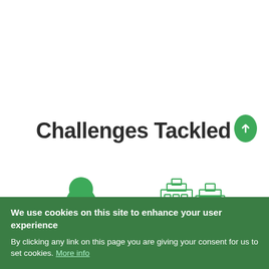Challenges Tackled 1
[Figure (illustration): Green bird silhouette (penguin-like) and city building icons in green outline style on white background]
We use cookies on this site to enhance your user experience
By clicking any link on this page you are giving your consent for us to set cookies. More info